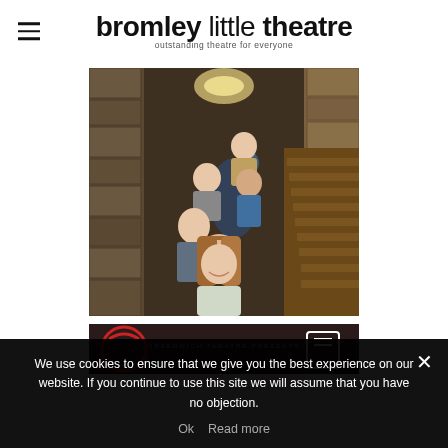bromley little theatre — outstanding theatre for everyone
[Figure (photo): Group of young women posing in a narrow stone corridor with atmospheric blue lighting and wooden staircase]
[Figure (photo): Partial view of a theatrical poster reading 'GREENWICH THEATRE PRESENTS']
We use cookies to ensure that we give you the best experience on our website. If you continue to use this site we will assume that you have no objection.
Ok   Read more